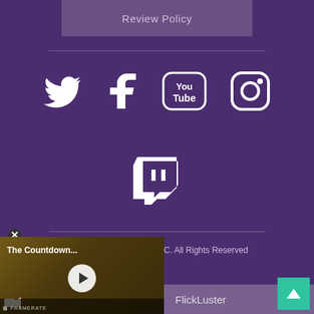Review Policy
[Figure (illustration): Social media icons: Twitter bird, Facebook f, YouTube, Instagram camera on purple background]
[Figure (logo): Twitch logo icon on purple background]
© 2022 Luster Network LLC. All Rights Reserved
[Figure (screenshot): Video thumbnail showing 'The Countdown...' with play button and FRAMERATE label]
FlickLuster